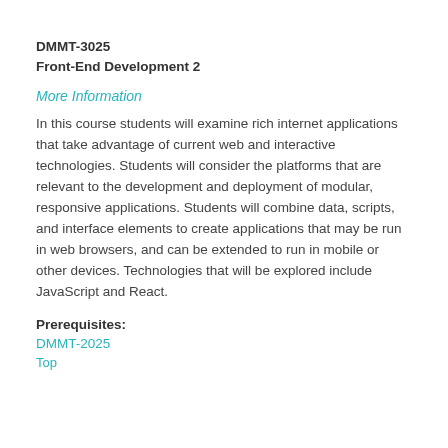DMMT-3025
Front-End Development 2
More Information
In this course students will examine rich internet applications that take advantage of current web and interactive technologies. Students will consider the platforms that are relevant to the development and deployment of modular, responsive applications. Students will combine data, scripts, and interface elements to create applications that may be run in web browsers, and can be extended to run in mobile or other devices. Technologies that will be explored include JavaScript and React.
Prerequisites:
DMMT-2025
Top